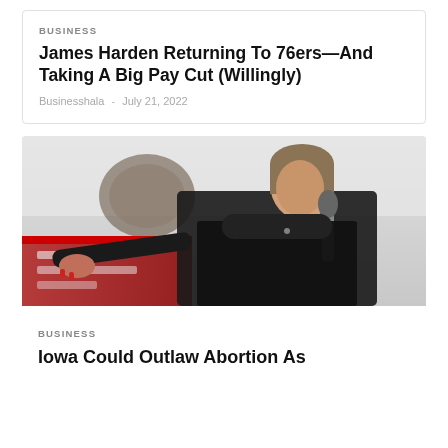BUSINESS
James Harden Returning To 76ers—And Taking A Big Pay Cut (Willingly)
Businesshala - July 21, 2022
[Figure (photo): A woman speaking at a microphone, wearing a black turtleneck and black vest, gesturing with her left hand, with red and white banner signs in the background]
BUSINESS
Iowa Could Outlaw Abortion As